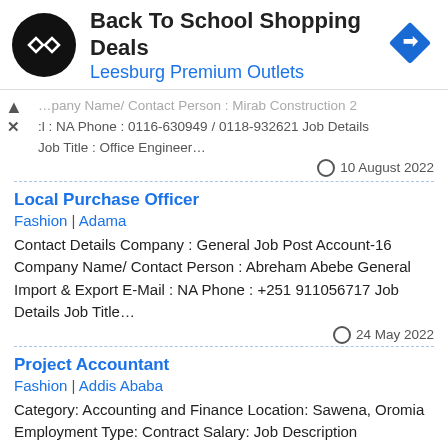[Figure (advertisement): Ad banner: Back To School Shopping Deals at Leesburg Premium Outlets with logo icons]
…pany Name/ Contact Person : Mirab Construction 2
:l : NA Phone : 0116-630949 / 0118-932621 Job Details
Job Title : Office Engineer…
10 August 2022
Local Purchase Officer
Fashion | Adama
Contact Details Company : General Job Post Account-16 Company Name/ Contact Person : Abreham Abebe General Import & Export E-Mail : NA Phone : +251 911056717 Job Details Job Title…
24 May 2022
Project Accountant
Fashion | Addis Ababa
Category: Accounting and Finance Location: Sawena, Oromia  Employment Type: Contract Salary: Job Description Background Wako Gutu Foundation (WGF) is non-governmental development organization established with overall objective of promoting inclusion…